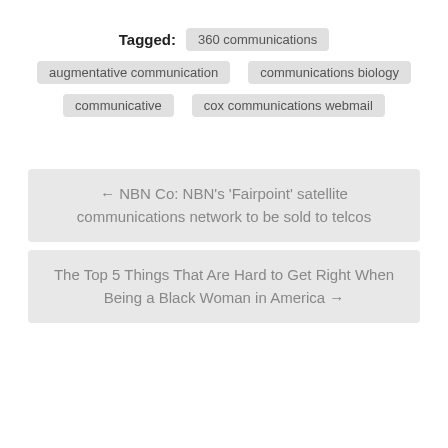Tagged: 360 communications
augmentative communication
communications biology
communicative
cox communications webmail
← NBN Co: NBN's 'Fairpoint' satellite communications network to be sold to telcos
The Top 5 Things That Are Hard to Get Right When Being a Black Woman in America →
Friendship Links ビジネス 看護師 JanCasino Nov搜索 哈尔滨 网络推广